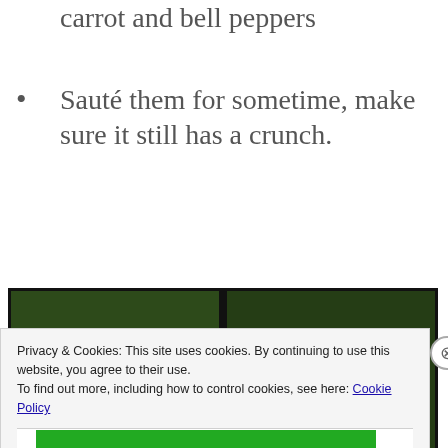carrot and bell peppers
Sauté them for sometime, make sure it still has a crunch.
[Figure (photo): Two side-by-side photos of colorful stir-fry vegetables (green beans, carrots, red bell peppers, onions) cooking in a pan.]
Privacy & Cookies: This site uses cookies. By continuing to use this website, you agree to their use.
To find out more, including how to control cookies, see here: Cookie Policy
Close and accept